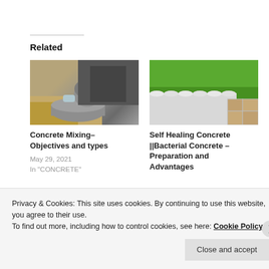Related
[Figure (photo): Person pouring grey concrete mix into a container, with straw/hay visible beside it]
[Figure (photo): Self-healing concrete cylindrical border edging along a green grass lawn with paving stones beside it]
Concrete Mixing– Objectives and types
May 29, 2021
In "CONCRETE"
Self Healing Concrete ||Bacterial Concrete – Preparation and Advantages
Privacy & Cookies: This site uses cookies. By continuing to use this website, you agree to their use.
To find out more, including how to control cookies, see here: Cookie Policy
Close and accept